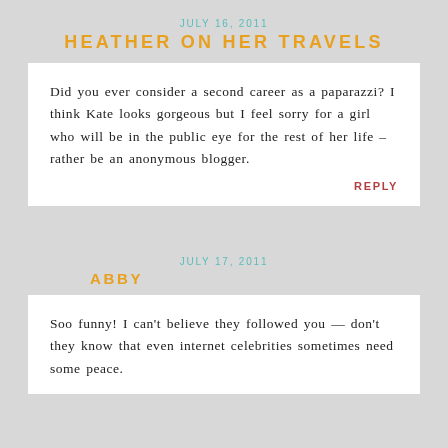JULY 16, 2011
HEATHER ON HER TRAVELS
Did you ever consider a second career as a paparazzi? I think Kate looks gorgeous but I feel sorry for a girl who will be in the public eye for the rest of her life – rather be an anonymous blogger.
REPLY
JULY 17, 2011
ABBY
Soo funny! I can't believe they followed you — don't they know that even internet celebrities sometimes need some peace.